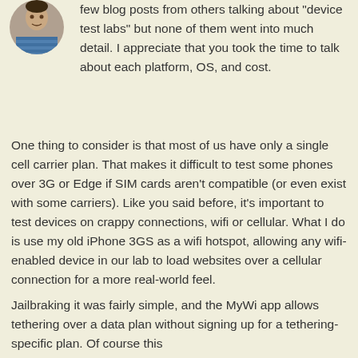[Figure (photo): Small circular avatar photo of a person wearing a striped shirt, positioned at top left]
few blog posts from others talking about "device test labs" but none of them went into much detail. I appreciate that you took the time to talk about each platform, OS, and cost.
One thing to consider is that most of us have only a single cell carrier plan. That makes it difficult to test some phones over 3G or Edge if SIM cards aren't compatible (or even exist with some carriers). Like you said before, it's important to test devices on crappy connections, wifi or cellular. What I do is use my old iPhone 3GS as a wifi hotspot, allowing any wifi-enabled device in our lab to load websites over a cellular connection for a more real-world feel.
Jailbraking it was fairly simple, and the MyWi app allows tethering over a data plan without signing up for a tethering-specific plan. Of course this